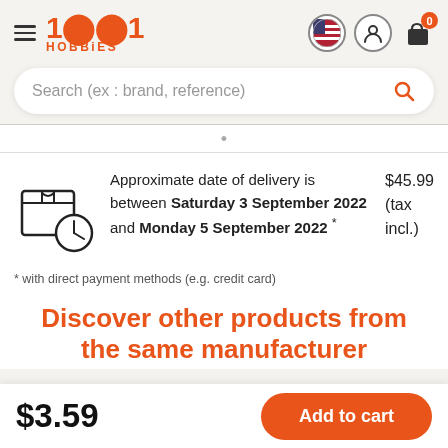1001 HOBBIES
Search (ex : brand, reference)
Approximate date of delivery is between Saturday 3 September 2022 and Monday 5 September 2022 * $45.99 (tax incl.)
* with direct payment methods (e.g. credit card)
Discover other products from the same manufacturer
$3.59
Add to cart